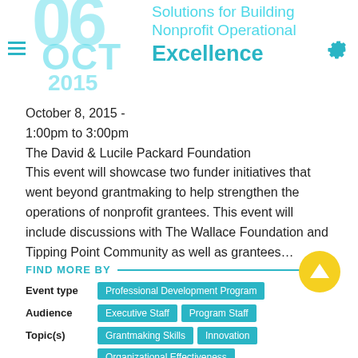Solutions for Building Nonprofit Operational Excellence
October 8, 2015 -
1:00pm to 3:00pm
The David & Lucile Packard Foundation
This event will showcase two funder initiatives that went beyond grantmaking to help strengthen the operations of nonprofit grantees. This event will include discussions with The Wallace Foundation and Tipping Point Community as well as grantees…
FIND MORE BY
Event type: Professional Development Program
Audience: Executive Staff, Program Staff
Topic(s): Grantmaking Skills, Innovation, Organizational Effectiveness